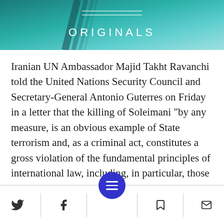[Figure (logo): ORIGINALS banner header with teal/turquoise gradient background and decorative diagonal lines, white text reading ORIGINALS with horizontal lines above]
Iranian UN Ambassador Majid Takht Ravanchi told the United Nations Security Council and Secretary-General Antonio Guterres on Friday in a letter that the killing of Soleimani "by any measure, is an obvious example of State terrorism and, as a criminal act, constitutes a gross violation of the fundamental principles of international law, including, in particular, those stipulated in the Charter of the United Nations."
Social sharing and navigation bar with Twitter, Facebook, menu, bookmark, and email icons